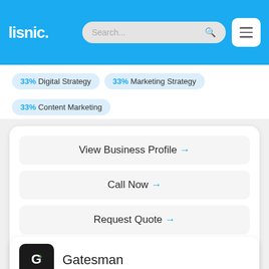lisnic. Search... [menu]
33% Digital Strategy  33% Marketing Strategy  33% Content Marketing
View Business Profile →
Call Now →
Request Quote →
Visit Website
Gatesman